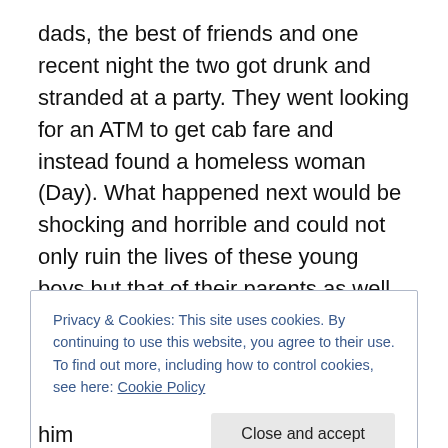dads, the best of friends and one recent night the two got drunk and stranded at a party. They went looking for an ATM to get cab fare and instead found a homeless woman (Day). What happened next would be shocking and horrible and could not only ruin the lives of these young boys but that of their parents as well and as the meal goes on and secrets get revealed, we discover the fragility of Paul's mental state and Claire's health and the truth behind Stan's first wife Barbara (Sevigny).
The film is based on a 2009 bestseller by Dutch author
Privacy & Cookies: This site uses cookies. By continuing to use this website, you agree to their use.
To find out more, including how to control cookies, see here: Cookie Policy
Close and accept
him